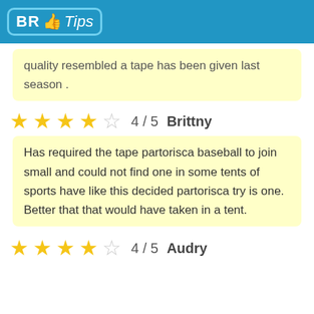BR Tips
quality resembled a tape has been given last season .
4 / 5   Brittny
Has required the tape partorisca baseball to join small and could not find one in some tents of sports have like this decided partorisca try is one. Better that that would have taken in a tent.
4 / 5   Audry